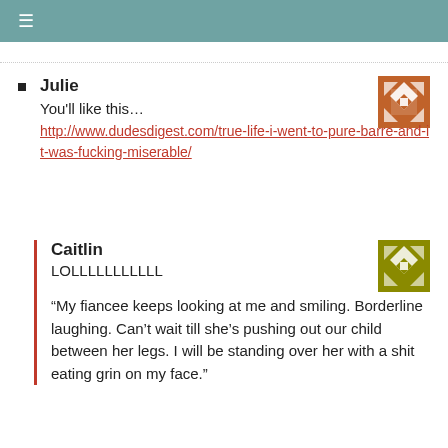≡
Julie
You'll like this…
http://www.dudesdigest.com/true-life-i-went-to-pure-barre-and-it-was-fucking-miserable/
[Figure (illustration): Brown decorative quilt-pattern avatar icon for Julie]
Caitlin
LOLLLLLLLLLLLL
[Figure (illustration): Olive/yellow decorative quilt-pattern avatar icon for Caitlin]
“My fiancee keeps looking at me and smiling. Borderline laughing. Can’t wait till she’s pushing out our child between her legs. I will be standing over her with a shit eating grin on my face.”